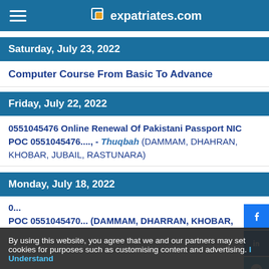expatriates.com
Saturday, July 23, 2022
Computer Course From Basic To Advance
Friday, July 22, 2022
0551045476 Online Renewal Of Pakistani Passport NIC POC 0551045476...., - Thuqbah (DAMMAM, DHAHRAN, KHOBAR, JUBAIL, RASTUNARA)
Monday, July 18, 2022
0... POC 0551045470... (DAMMAM, DHARRAN, KHOBAR,
By using this website, you agree that we and our partners may set cookies for purposes such as customising content and advertising. I Understand